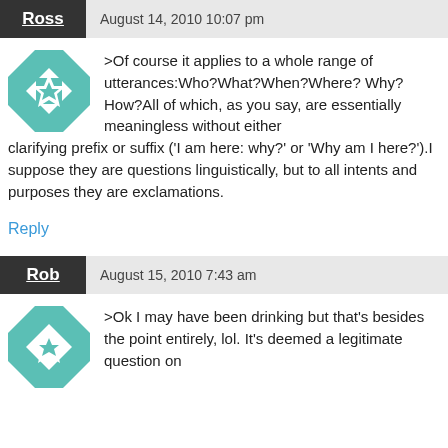Ross — August 14, 2010 10:07 pm
>Of course it applies to a whole range of utterances:Who?What?When?Where?Why?How?All of which, as you say, are essentially meaningless without either clarifying prefix or suffix ('I am here: why?' or 'Why am I here?').I suppose they are questions linguistically, but to all intents and purposes they are exclamations.
Reply
Rob — August 15, 2010 7:43 am
>Ok I may have been drinking but that's besides the point entirely, lol. It's deemed a legitimate question on